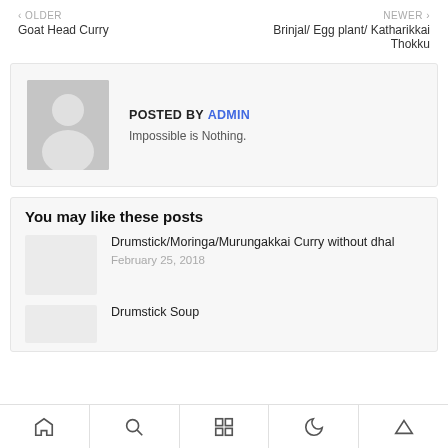< OLDER
Goat Head Curry
NEWER >
Brinjal/ Egg plant/ Katharikkai Thokku
POSTED BY ADMIN
Impossible is Nothing.
You may like these posts
Drumstick/Moringa/Murungakkai Curry without dhal
February 25, 2018
Drumstick Soup